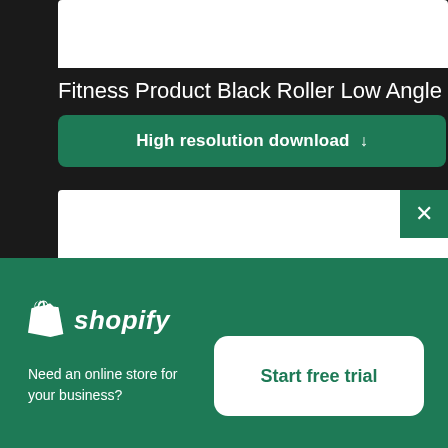[Figure (screenshot): White image preview area at top]
Fitness Product Black Roller Low Angle
High resolution download ↓
[Figure (screenshot): Second image preview area with blurred blue element at bottom]
[Figure (logo): Shopify logo with shopping bag icon]
Need an online store for your business?
Start free trial